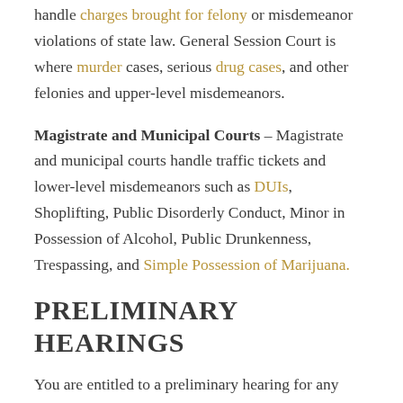handle charges brought for felony or misdemeanor violations of state law. General Session Court is where murder cases, serious drug cases, and other felonies and upper-level misdemeanors.
Magistrate and Municipal Courts – Magistrate and municipal courts handle traffic tickets and lower-level misdemeanors such as DUIs, Shoplifting, Public Disorderly Conduct, Minor in Possession of Alcohol, Public Drunkenness, Trespassing, and Simple Possession of Marijuana.
PRELIMINARY HEARINGS
You are entitled to a preliminary hearing for any